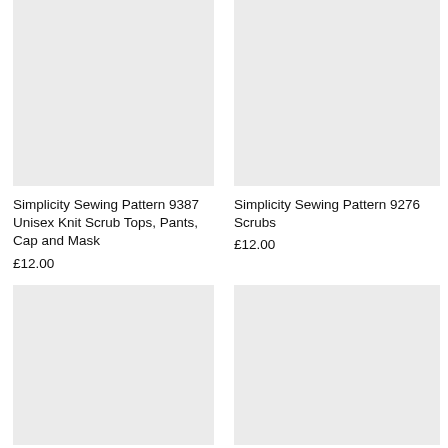[Figure (other): Gray placeholder image for Simplicity Sewing Pattern 9387]
[Figure (other): Gray placeholder image for Simplicity Sewing Pattern 9276]
Simplicity Sewing Pattern 9387 Unisex Knit Scrub Tops, Pants, Cap and Mask
£12.00
Simplicity Sewing Pattern 9276 Scrubs
£12.00
[Figure (other): Gray placeholder image (bottom left)]
[Figure (other): Gray placeholder image (bottom right)]